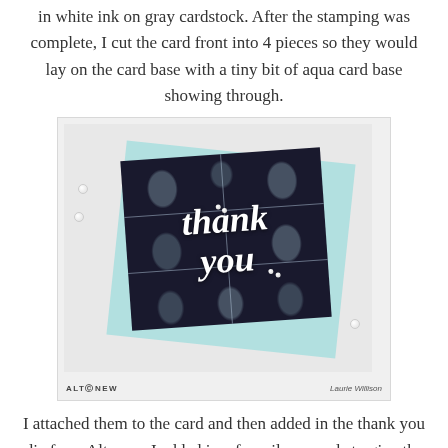in white ink on gray cardstock. After the stamping was complete, I cut the card front into 4 pieces so they would lay on the card base with a tiny bit of aqua card base showing through.
[Figure (photo): A handmade thank you card featuring dark floral stamped pattern in white ink on dark cardstock, cut into 4 pieces showing aqua card base, with a white die-cut 'thank you' sentiment and silver pearls. Shown with matching aqua envelope. Altenew logo and Laurie Willison credit at bottom.]
I attached them to the card and then added in the thank you die from Altenew. I added in a few silver pearls to give the card some shine.